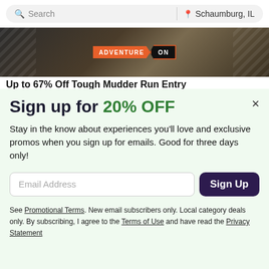Search | Schaumburg, IL
[Figure (photo): Hero banner image with dark background showing a person outdoors. Center badge reads ADVENTURE ON in orange and dark styling.]
Up to 67% Off Tough Mudder Run Entry
Sign up for 20% OFF
Stay in the know about experiences you'll love and exclusive promos when you sign up for emails. Good for three days only!
Email Address [input] Sign Up
See Promotional Terms. New email subscribers only. Local category deals only. By subscribing, I agree to the Terms of Use and have read the Privacy Statement